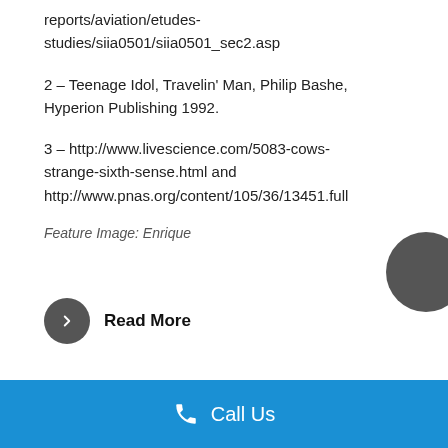reports/aviation/etudes-studies/siia0501/siia0501_sec2.asp
2 – Teenage Idol, Travelin' Man, Philip Bashe, Hyperion Publishing 1992.
3 – http://www.livescience.com/5083-cows-strange-sixth-sense.html and http://www.pnas.org/content/105/36/13451.full
Feature Image: Enrique
Read More